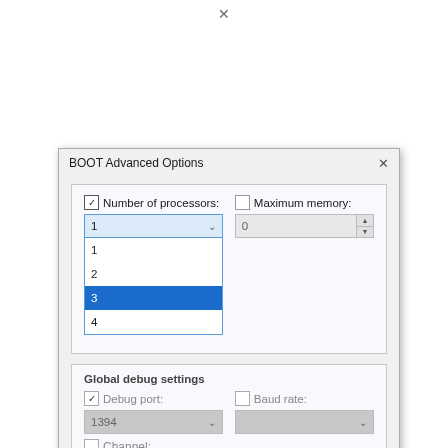[Figure (screenshot): BOOT Advanced Options dialog window showing: Number of processors checkbox (checked) with a dropdown showing value 1 and an open list with options 1, 2, 3 (highlighted in blue), 4; Maximum memory checkbox (unchecked) with a spinbox showing 0; Global debug settings section with Debug port checkbox (checked, grayed) showing 1394 dropdown, Baud rate checkbox (unchecked, grayed) with empty dropdown, and Channel label at bottom.]